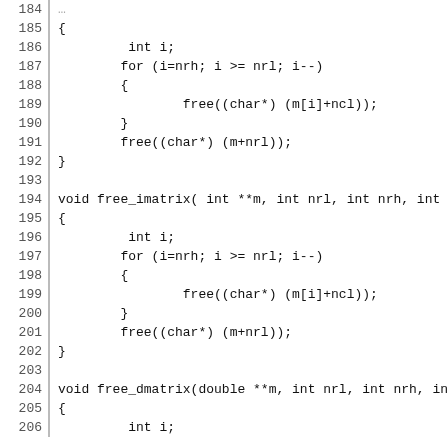Code listing lines 185-206 showing C functions free_imatrix and free_dmatrix
185  {
186       int i;
187      for (i=nrh; i >= nrl; i--)
188      {
189            free((char*) (m[i]+ncl));
190      }
191      free((char*) (m+nrl));
192  }
193
194  void free_imatrix( int **m, int nrl, int nrh, int n
195  {
196       int i;
197      for (i=nrh; i >= nrl; i--)
198      {
199            free((char*) (m[i]+ncl));
200      }
201      free((char*) (m+nrl));
202  }
203
204  void free_dmatrix(double **m, int nrl, int nrh, int
205  {
206       int i;